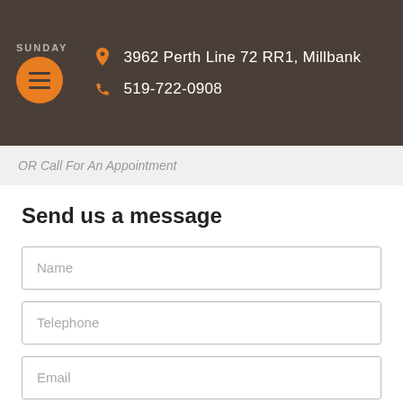SUNDAY | 3962 Perth Line 72 RR1, Millbank | 519-722-0908
OR Call For An Appointment
Send us a message
Name
Telephone
Email
Message